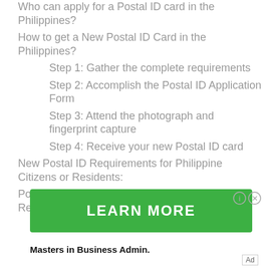Who can apply for a Postal ID card in the Philippines?
How to get a New Postal ID Card in the Philippines?
Step 1: Gather the complete requirements
Step 2: Accomplish the Postal ID Application Form
Step 3: Attend the photograph and fingerprint capture
Step 4: Receive your new Postal ID card
New Postal ID Requirements for Philippine Citizens or Residents:
Postal ID Card Requirements for Foreign Residents in the Philippines:
[Figure (infographic): Green advertisement banner with text LEARN MORE, with info and close icons in top right]
Masters in Business Admin.
Ad